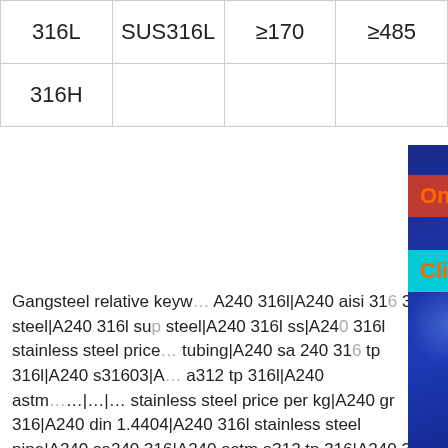| 316L | SUS316L | ≥170 | ≥485 |
| 316H |  |  |  |
[Figure (screenshot): Advertisement overlay for Gangsteel steel plate shop with red banner 'One-stop shop Steel plate', cyan banner 'Click here for online chat', purple 'Contact us' button, and email admin@gangsteel.com on blue background]
Gangsteel relative keyw... A240 316l|A240 aisi 316... 316l steel|A240 316l su... steel|A240 316l ss|A240... 316l stainless steel price... tubing|A240 sa 240 316... tp 316l|A240 s31603|A... a312 tp 316l|A240 astm ... stainless steel price per kg|A240 gr 316|A240 din 1.4404|A240 316l stainless steel pipe|A240 sa240 316|A240 astm a312 tp 316|A240 316l grade stainless steel|A240 astm a240 316l|A240 1.4435 stainless steel|A240 a240 316l|A240 astm 316 stainless steel|A240 316l stainless steel